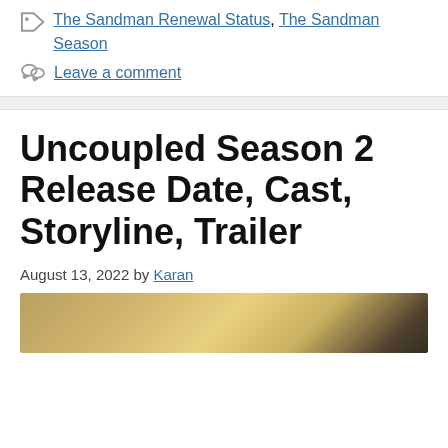The Sandman Renewal Status, The Sandman Season
Leave a comment
Uncoupled Season 2 Release Date, Cast, Storyline, Trailer
August 13, 2022 by Karan
[Figure (photo): Photo showing people at what appears to be an outdoor event with warm lighting and greenery in background]